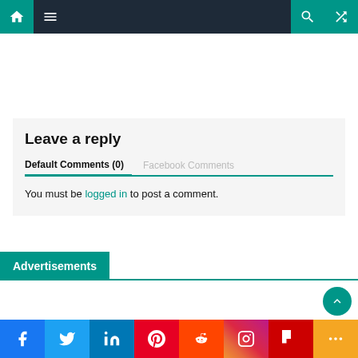Navigation bar with home, menu, search, and random icons
Leave a reply
Default Comments (0)   Facebook Comments
You must be logged in to post a comment.
Advertisements
Social share bar: Facebook, Twitter, LinkedIn, Pinterest, Reddit, Instagram, Flipboard, More